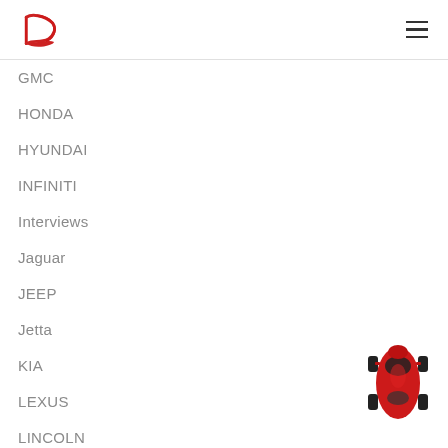[Figure (logo): Red high-heel shoe logo]
[Figure (illustration): Hamburger menu icon (three horizontal lines)]
GMC
HONDA
HYUNDAI
INFINITI
Interviews
Jaguar
JEEP
Jetta
KIA
LEXUS
LINCOLN
[Figure (illustration): Red sports car viewed from above]